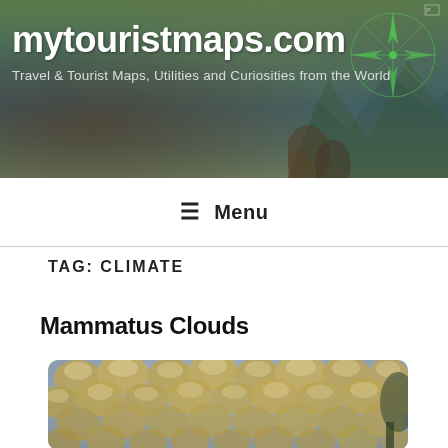mytouristmaps.com
Travel & Tourist Maps, Utilities and Curiosities from the World
[Figure (screenshot): Website header banner with mountain/landscape background and a compass rose graphic on the right side]
☰ Menu
TAG: CLIMATE
Mammatus Clouds
[Figure (photo): Photograph of mammatus clouds — round, pouch-like cloud formations hanging from the sky with a warm golden-yellow light illuminating them against a grey-blue sky]